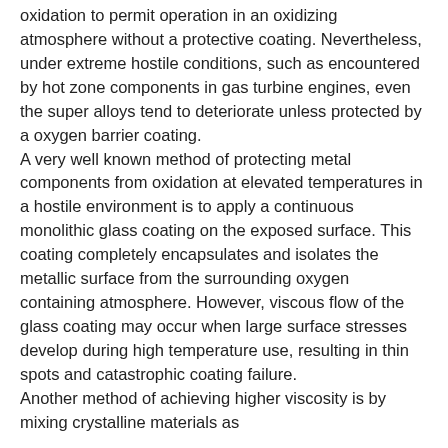oxidation to permit operation in an oxidizing atmosphere without a protective coating. Nevertheless, under extreme hostile conditions, such as encountered by hot zone components in gas turbine engines, even the super alloys tend to deteriorate unless protected by a oxygen barrier coating. A very well known method of protecting metal components from oxidation at elevated temperatures in a hostile environment is to apply a continuous monolithic glass coating on the exposed surface. This coating completely encapsulates and isolates the metallic surface from the surrounding oxygen containing atmosphere. However, viscous flow of the glass coating may occur when large surface stresses develop during high temperature use, resulting in thin spots and catastrophic coating failure. Another method of achieving higher viscosity is by mixing crystalline materials as